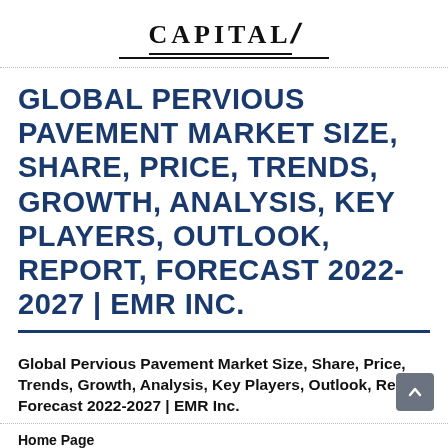CAPITAL/
GLOBAL PERVIOUS PAVEMENT MARKET SIZE, SHARE, PRICE, TRENDS, GROWTH, ANALYSIS, KEY PLAYERS, OUTLOOK, REPORT, FORECAST 2022-2027 | EMR INC.
Global Pervious Pavement Market Size, Share, Price, Trends, Growth, Analysis, Key Players, Outlook, Report, Forecast 2022-2027 | EMR Inc.